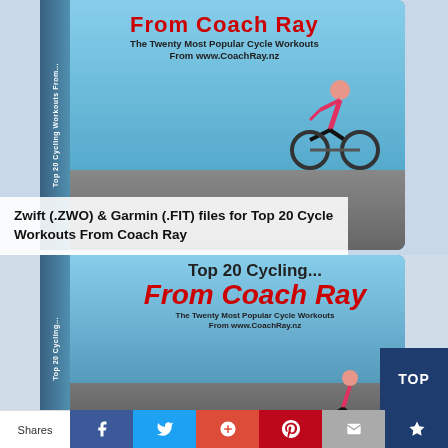[Figure (photo): Book cover for 'Top 20 Cycling Workouts From Coach Ray' showing a female cyclist on a road bike, with subtitle 'The Twenty Most Popular Cycle Workouts From www.CoachRay.nz'. The book is shown in 3D perspective with spine visible. Overlay text reads: 'Zwift (.ZWO) & Garmin (.FIT) files for Top 20 Cycle Workouts From Coach Ray']
Zwift (.ZWO) & Garmin (.FIT) files for Top 20 Cycle Workouts From Coach Ray
[Figure (photo): Enlarged/cropped view of the same book cover for 'Top 20 Cycling Workouts From Coach Ray' with red bold italic 'From Coach Ray' text prominent, and subtitle 'The Twenty Most Popular Cycle Workouts From www.CoachRay.nz'. Book shown in 3D perspective.]
Shares